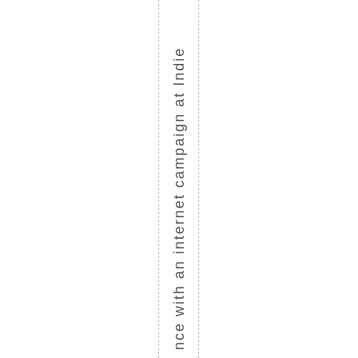nce with an internet campaign at Indie